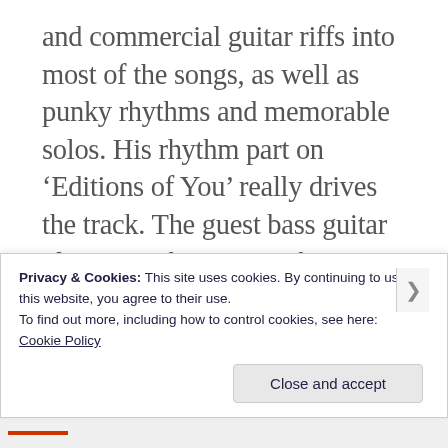and commercial guitar riffs into most of the songs, as well as punky rhythms and memorable solos. His rhythm part on ‘Editions of You’ really drives the track. The guest bass guitar player is John Porter who became a successful record producer as well as working at the BBC for a couple of years. I actually ended up working with him when I was doing a session for the BBC in 1983, which he produced. One of the tracks,’ On This Night of Decision’ appeared on the B-
Privacy & Cookies: This site uses cookies. By continuing to use this website, you agree to their use.
To find out more, including how to control cookies, see here:
Cookie Policy
Close and accept